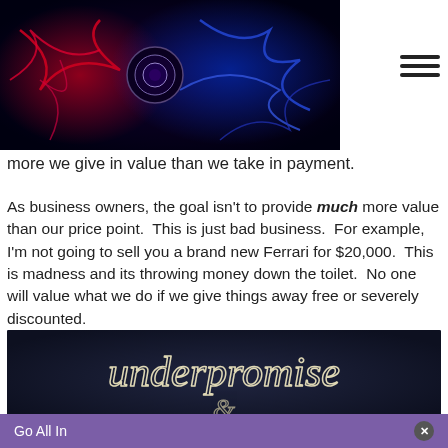[Figure (photo): Abstract fractal image with red and blue energy strands on dark background with a circular element in center, used as website header logo/banner]
more we give in value than we take in payment.
As business owners, the goal isn't to provide much more value than our price point.  This is just bad business.  For example, I'm not going to sell you a brand new Ferrari for $20,000.  This is madness and its throwing money down the toilet.  No one will value what we do if we give things away free or severely discounted.
[Figure (photo): Dark blue background with cursive white wire/light text spelling 'underpromise' and partially visible text below]
Go All In